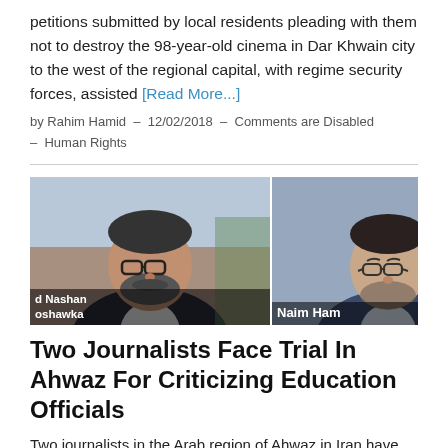petitions submitted by local residents pleading with them not to destroy the 98-year-old cinema in Dar Khwain city to the west of the regional capital, with regime security forces, assisted [Read More...]
by Rahim Hamid – 12/02/2018 – Comments are Disabled – Human Rights
[Figure (photo): Two portrait photos side by side. Left photo partially cropped shows a man with glasses and beard labeled 'd Nashan oshawka'. Right photo shows a man with glasses labeled 'Naim Ham'.]
Two Journalists Face Trial In Ahwaz For Criticizing Education Officials
Two journalists in the Arab region of Ahwaz in Iran have